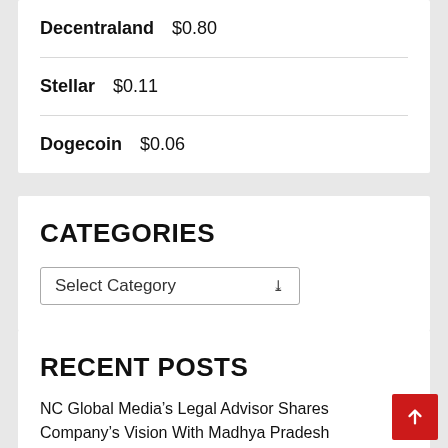Decentraland  $0.80
Stellar  $0.11
Dogecoin  $0.06
CATEGORIES
Select Category
RECENT POSTS
NC Global Media’s Legal Advisor Shares Company’s Vision With Madhya Pradesh Government Officers